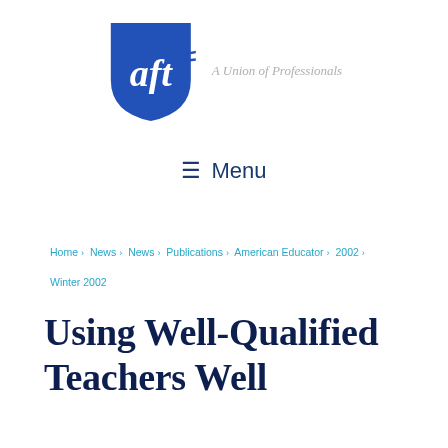[Figure (logo): AFT (American Federation of Teachers) shield logo in blue with 'aft' text in white italic, alongside tagline 'A Union of Professionals' in gray italic]
≡ Menu
Home › News › News › Publications › American Educator › 2002 › Winter 2002
Using Well-Qualified Teachers Well